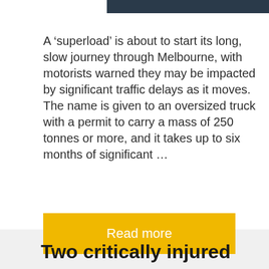[Figure (photo): Partial view of a dark photo strip at the top of the page, appears to show a vehicle or road scene]
A ‘superload’ is about to start its long, slow journey through Melbourne, with motorists warned they may be impacted by significant traffic delays as it moves. The name is given to an oversized truck with a permit to carry a mass of 250 tonnes or more, and it takes up to six months of significant …
Read more
Two critically injured